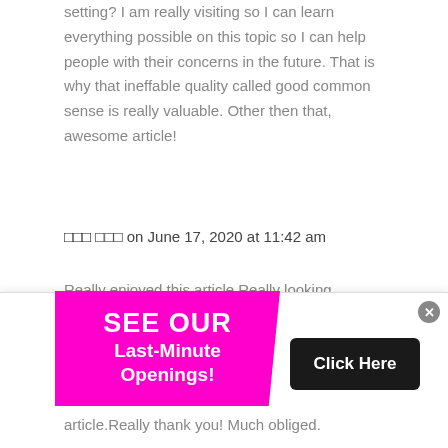setting? I am really visiting so I can learn everything possible on this topic so I can help people with their concerns in the future. That is why that ineffable quality called good common sense is really valuable. Other then that, awesome article!
□□□ □□□ on June 17, 2020 at 11:42 am
Really enjoyed this article.Really looking forward to read more.
[Figure (other): Advertisement banner with magenta/pink background showing 'SEE OUR Last-Minute Openings!' and a black 'Click Here' button, with a close (x) button]
article.Really thank you! Much obliged.